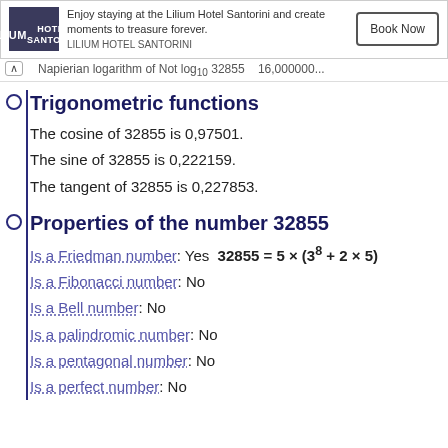[Figure (other): Advertisement banner for Lilium Hotel Santorini with logo, tagline, and Book Now button]
Napierian logarithm of Not log₁₀ 32855   16,000000...
Trigonometric functions
The cosine of 32855 is 0,97501.
The sine of 32855 is 0,222159.
The tangent of 32855 is 0,227853.
Properties of the number 32855
Is a Friedman number: Yes  32855 = 5 × (3⁸ + 2 × 5)
Is a Fibonacci number: No
Is a Bell number: No
Is a palindromic number: No
Is a pentagonal number: No
Is a perfect number: No